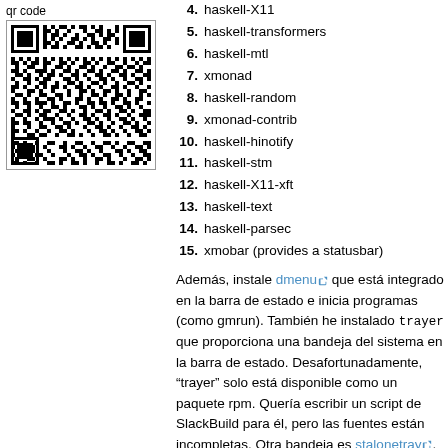qr code
[Figure (other): QR code image for the page]
4. haskell-X11
5. haskell-transformers
6. haskell-mtl
7. xmonad
8. haskell-random
9. xmonad-contrib
10. haskell-hinotify
11. haskell-stm
12. haskell-X11-xft
13. haskell-text
14. haskell-parsec
15. xmobar (provides a statusbar)
Además, instale dmenu que está integrado en la barra de estado e inicia programas (como gmrun). También he instalado trayer que proporciona una bandeja del sistema en la barra de estado. Desafortunadamente, “trayer” solo está disponible como un paquete rpm. Quería escribir un script de SlackBuild para él, pero las fuentes están incompletas. Otra bandeja es stalonetray, que está disponible a través de SlackBuilds.org.